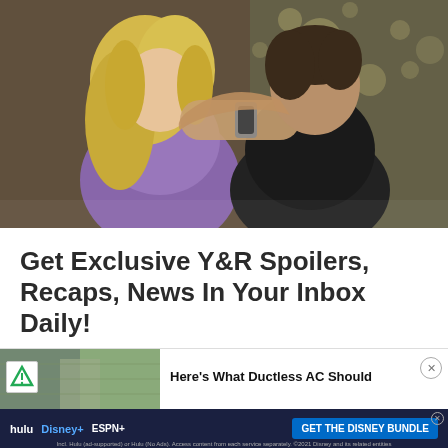[Figure (photo): A couple facing each other closely, woman with blonde hair wearing a purple top, man wearing a black t-shirt with a watch on his wrist, bokeh lights in the background suggesting holiday/Christmas setting]
Get Exclusive Y&R Spoilers, Recaps, News In Your Inbox Daily!
Your first name
[Figure (screenshot): Advertisement banner: 'Here's What Ductless AC Should' with thumbnail image, close button, and below it a Disney Bundle ad showing Hulu, Disney+, ESPN+ logos with 'GET THE DISNEY BUNDLE' button and fine print text '©2021 Disney and its related entities']